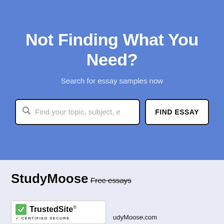Not Finding What You Need?
Search for essay samples now
Find your topic, subject, e...
FIND ESSAY
StudyMoose
Free essays
[Figure (logo): TrustedSite certified secure badge with green checkmark]
© StudyMoose.com